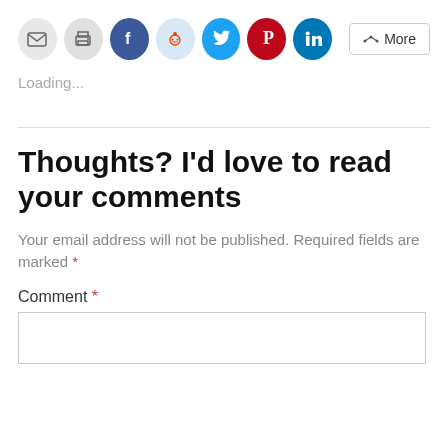[Figure (other): Row of social sharing icons: email (gray), print (gray), Facebook (blue), Reddit (light blue), Twitter (cyan), Pinterest (red), LinkedIn (teal), and a More button]
Loading...
Thoughts? I'd love to read your comments
Your email address will not be published. Required fields are marked *
Comment *
[Figure (other): Empty comment text area input box]